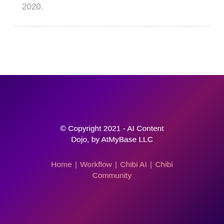2020.
© Copyright 2021 - AI Content Dojo, by AtMyBase LLC
Home | Workflow | Chibi AI | Chibi Community